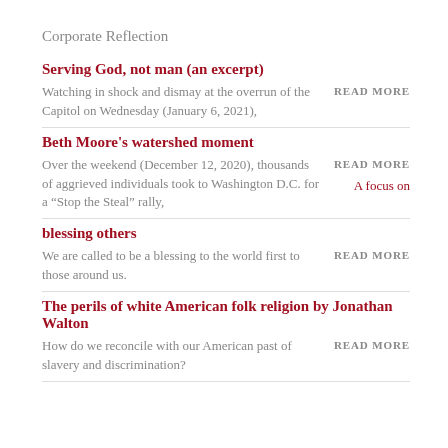Corporate Reflection
Serving God, not man (an excerpt)
Watching in shock and dismay at the overrun of the Capitol on Wednesday (January 6, 2021),
READ MORE
Beth Moore's watershed moment
Over the weekend (December 12, 2020), thousands of aggrieved individuals took to Washington D.C. for a “Stop the Steal” rally,
READ MORE
A focus on blessing others
We are called to be a blessing to the world first to those around us.
READ MORE
The perils of white American folk religion by Jonathan Walton
How do we reconcile with our American past of slavery and discrimination?
READ MORE